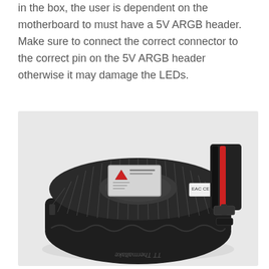in the box, the user is dependent on the motherboard to must have a 5V ARGB header. Make sure to connect the correct connector to the correct pin on the 5V ARGB header otherwise it may damage the LEDs.
[Figure (photo): Photo of a Thermaltake CPU cooler (heatsink) viewed from above at an angle, showing the circular aluminum fin array and base, with a warning sticker on top and bundled black and red cables/wires on the right side.]